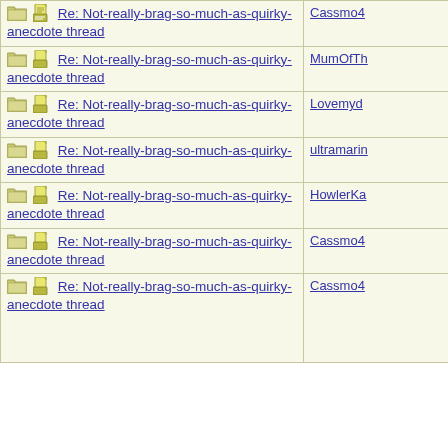| Thread | Author |
| --- | --- |
| Re: Not-really-brag-so-much-as-quirky-anecdote thread | Cassmo4 |
| Re: Not-really-brag-so-much-as-quirky-anecdote thread | MumOfTh |
| Re: Not-really-brag-so-much-as-quirky-anecdote thread | Lovemyd |
| Re: Not-really-brag-so-much-as-quirky-anecdote thread | ultramarin |
| Re: Not-really-brag-so-much-as-quirky-anecdote thread | HowlerKa |
| Re: Not-really-brag-so-much-as-quirky-anecdote thread | Cassmo4 |
| Re: Not-really-brag-so-much-as-quirky-anecdote thread | Cassmo4 |